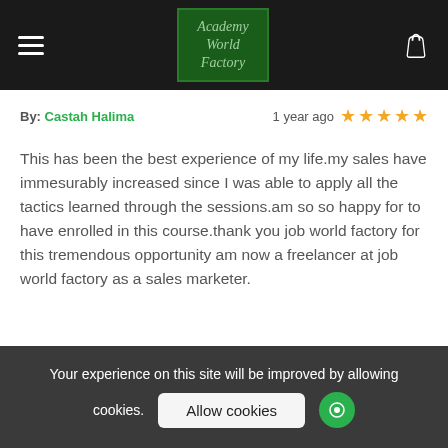Academy World Factory
By: Castah Halima   1 year ago ★★★★★
This has been the best experience of my life.my sales have immesurably increased since I was able to apply all the tactics learned through the sessions.am so so happy for to have enrolled in this course.thank you job world factory for this tremendous opportunity am now a freelancer at job world factory as a sales marketer.
Your experience on this site will be improved by allowing cookies.
Allow cookies